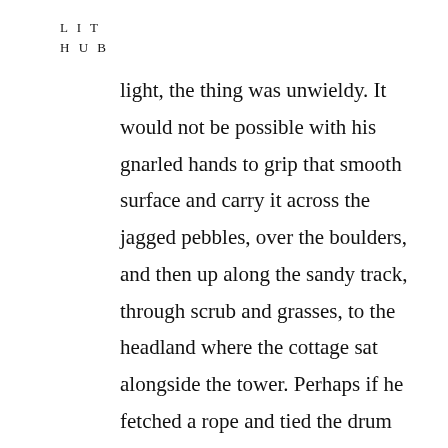L I T
H U B
light, the thing was unwieldy. It would not be possible with his gnarled hands to grip that smooth surface and carry it across the jagged pebbles, over the boulders, and then up along the sandy track, through scrub and grasses, to the headland where the cottage sat alongside the tower. Perhaps if he fetched a rope and tied the drum to his back, he could avoid using the ancient wooden barrow with its wheel that splintered and caught on the craggy